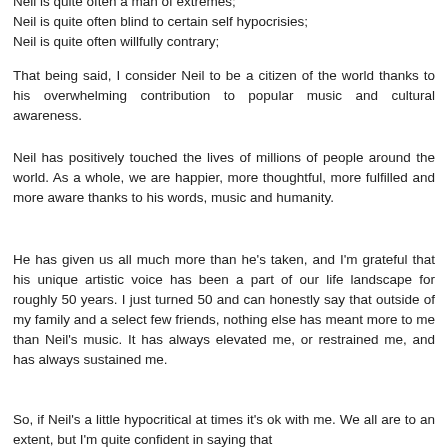Neil is quite often a man of extremes;
Neil is quite often blind to certain self hypocrisies;
Neil is quite often willfully contrary;
That being said, I consider Neil to be a citizen of the world thanks to his overwhelming contribution to popular music and cultural awareness.
Neil has positively touched the lives of millions of people around the world. As a whole, we are happier, more thoughtful, more fulfilled and more aware thanks to his words, music and humanity.
He has given us all much more than he's taken, and I'm grateful that his unique artistic voice has been a part of our life landscape for roughly 50 years. I just turned 50 and can honestly say that outside of my family and a select few friends, nothing else has meant more to me than Neil's music. It has always elevated me, or restrained me, and has always sustained me.
So, if Neil's a little hypocritical at times it's ok with me. We all are to an extent, but I'm quite confident in saying that